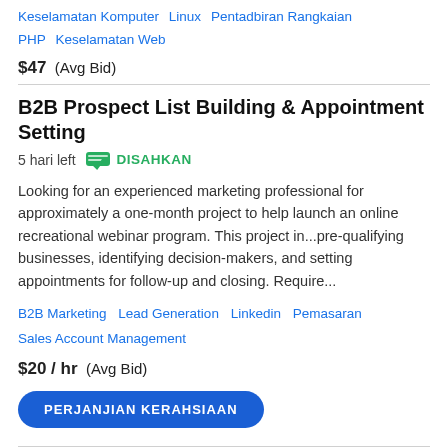Keselamatan Komputer  Linux  Pentadbiran Rangkaian  PHP  Keselamatan Web
$47  (Avg Bid)
B2B Prospect List Building & Appointment Setting
5 hari left   DISAHKAN
Looking for an experienced marketing professional for approximately a one-month project to help launch an online recreational webinar program. This project in...pre-qualifying businesses, identifying decision-makers, and setting appointments for follow-up and closing. Require...
B2B Marketing  Lead Generation  Linkedin  Pemasaran  Sales Account Management
$20 / hr  (Avg Bid)
PERJANJIAN KERAHSIAAN